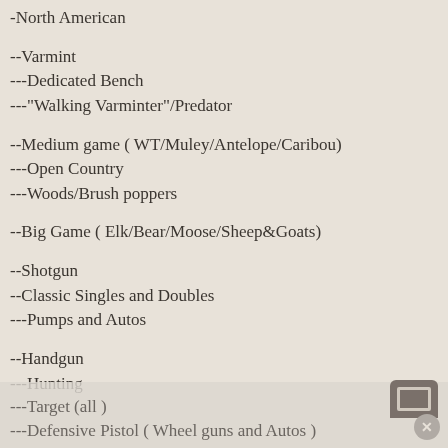-North American
--Varmint
---Dedicated Bench
---"Walking Varminter"/Predator
--Medium game ( WT/Muley/Antelope/Caribou)
---Open Country
---Woods/Brush poppers
--Big Game ( Elk/Bear/Moose/Sheep&Goats)
--Shotgun
--Classic Singles and Doubles
---Pumps and Autos
--Handgun
---Hunting
---Target (all )
---Defensive Pistol ( Wheel guns and Autos )